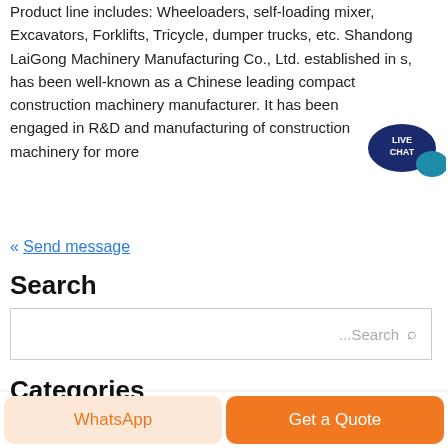Product line includes: Wheeloaders, self-loading mixer, Excavators, Forklifts, Tricycle, dumper trucks, etc. Shandong LaiGong Machinery Manufacturing Co., Ltd. established in s, has been well-known as a Chinese leading compact construction machinery manufacturer. It has been engaged in R&D and manufacturing of construction machinery for more
[Figure (illustration): Live Chat speech bubble icon in dark blue/teal with 'LIVE CHAT' text]
« Send message
Search
...Search
Categories
C6X Jaw Crusher
WhatsApp
Get a Quote